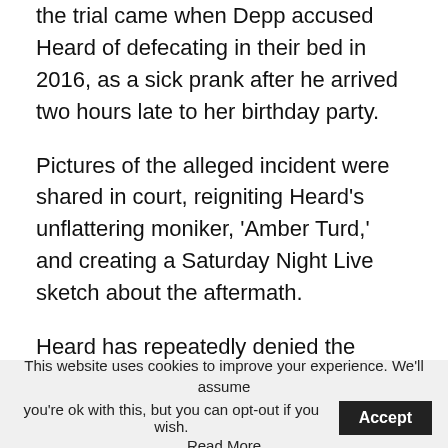the trial came when Depp accused Heard of defecating in their bed in 2016, as a sick prank after he arrived two hours late to her birthday party.
Pictures of the alleged incident were shared in court, reigniting Heard's unflattering moniker, 'Amber Turd,' and creating a Saturday Night Live sketch about the aftermath.
Heard has repeatedly denied the accusations and claimed that the feces was the work of one of their Yorkshire terriers, Boo, who she said had
This website uses cookies to improve your experience. We'll assume you're ok with this, but you can opt-out if you wish. Accept Read More